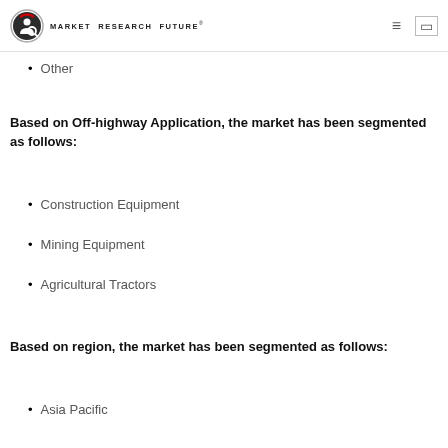MARKET RESEARCH FUTURE®
Other
Based on Off-highway Application, the market has been segmented as follows:
Construction Equipment
Mining Equipment
Agricultural Tractors
Based on region, the market has been segmented as follows:
Asia Pacific